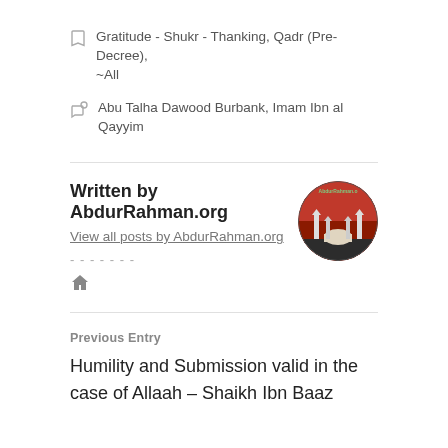Gratitude - Shukr - Thanking, Qadr (Pre-Decree), ~All
Abu Talha Dawood Burbank, Imam Ibn al Qayyim
Written by AbdurRahman.org
View all posts by AbdurRahman.org
-------
[Figure (photo): Circular avatar image showing a mosque with minarets against a red sky, with AbdurRahman.org text overlay]
Previous Entry
Humility and Submission valid in the case of Allaah – Shaikh Ibn Baaz